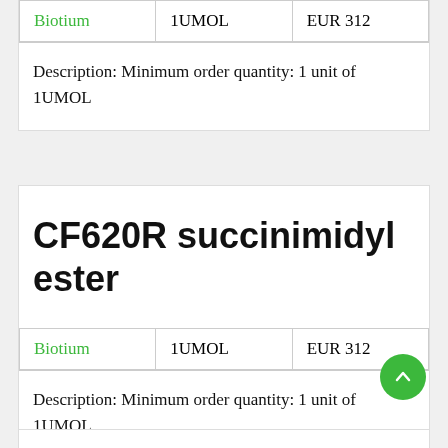| Vendor | Quantity | Price |
| --- | --- | --- |
| Biotium | 1UMOL | EUR 312 |
Description: Minimum order quantity: 1 unit of 1UMOL
CF620R succinimidyl ester
| Vendor | Quantity | Price |
| --- | --- | --- |
| Biotium | 1UMOL | EUR 312 |
Description: Minimum order quantity: 1 unit of 1UMOL